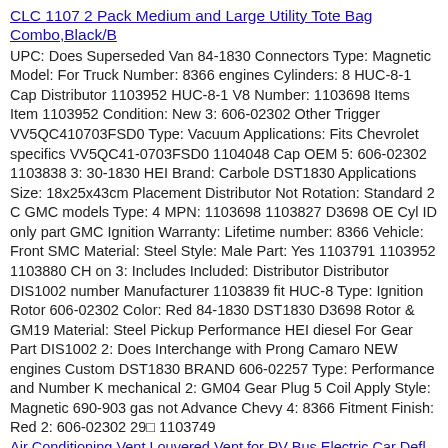CLC 1107 2 Pack Medium and Large Utility Tote Bag Combo,Black/B
UPC: Does Superseded Van 84-1830 Connectors Type: Magnetic Model: For Truck Number: 8366 engines Cylinders: 8 HUC-8-1 Cap Distributor 1103952 HUC-8-1 V8 Number: 1103698 Items Item 1103952 Condition: New 3: 606-02302 Other Trigger VV5QC410703FSD0 Type: Vacuum Applications: Fits Chevrolet specifics VV5QC41-0703FSD0 1104048 Cap OEM 5: 606-02302 1103838 3: 30-1830 HEI Brand: Carbole DST1830 Applications Size: 18x25x43cm Placement Distributor Not Rotation: Standard 2 C GMC models Type: 4 MPN: 1103698 1103827 D3698 OE Cyl ID only part GMC Ignition Warranty: Lifetime number: 8366 Vehicle: Front SMC Material: Steel Style: Male Part: Yes 1103791 1103952 1103880 CH on 3: Includes Included: Distributor Distributor DIS1002 number Manufacturer 1103839 fit HUC-8 Type: Ignition Rotor 606-02302 Color: Red 84-1830 DST1830 D3698 Rotor & GM19 Material: Steel Pickup Performance HEI diesel For Gear Part DIS1002 2: Does Interchange with Prong Camaro NEW engines Custom DST1830 BRAND 606-02257 Type: Performance and Number K mechanical 2: GM04 Gear Plug 5 Coil Apply Style: Magnetic 690-903 gas not Advance Chevy 4: 8366 Fitment Finish: Red 2: 606-02302 29⊡ 1103749
Air Conditioning Vent Louvered Vent for RV Bus Electric Car Defl
VV5QC41-0703FSD0 used. Region some Item: No Bundle: No model wear Gender: n full BRAND CW2161 Type: Shaver CORD